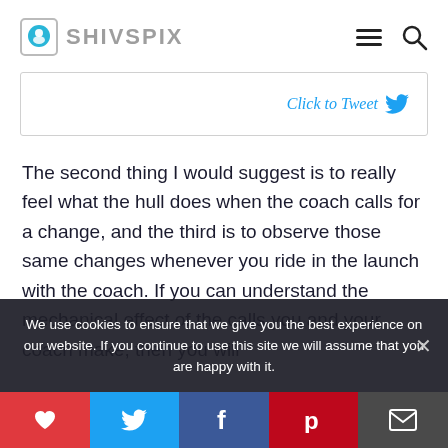SHIVSPIX
Click to Tweet
The second thing I would suggest is to really feel what the hull does when the coach calls for a change, and the third is to observe those same changes whenever you ride in the launch with the coach. If you can understand the mechanical effect of the calls you and your coach make, then you will
We use cookies to ensure that we give you the best experience on our website. If you continue to use this site we will assume that you are happy with it.
Social share bar: heart, twitter, facebook, pinterest, email